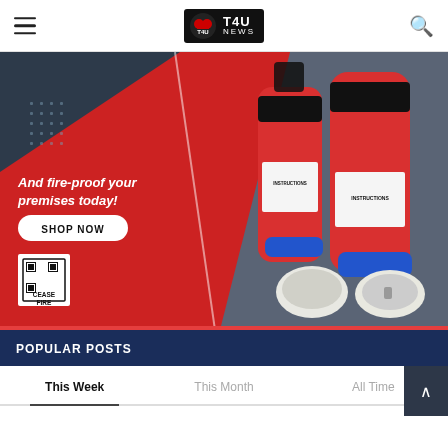T4U NEWS
[Figure (photo): Advertisement banner for Ceasefire fire extinguishers and smoke detectors. Red and dark background with white italic text reading 'And fire-proof your premises today!' and a SHOP NOW button. Shows fire extinguishers and smoke detectors. Ceasefire QR code logo at bottom left. Red bar at bottom.]
And fire-proof your premises today!
SHOP NOW
POPULAR POSTS
This Week	This Month	All Time